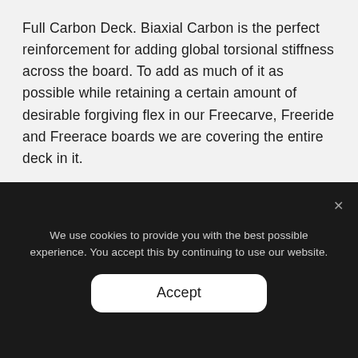Full Carbon Deck. Biaxial Carbon is the perfect reinforcement for adding global torsional stiffness across the board. To add as much of it as possible while retaining a certain amount of desirable forgiving flex in our Freecarve, Freeride and Freerace boards we are covering the entire deck in it.
Build illustration.
We use cookies to provide you with the best possible experience. You accept this by continuing to use our website.
Accept